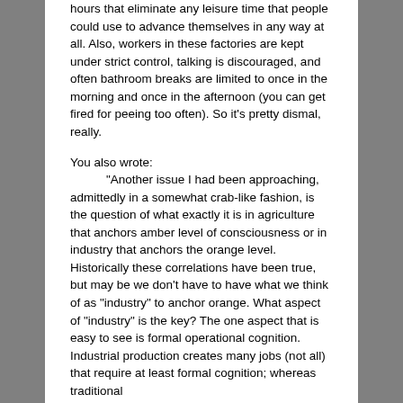hours that eliminate any leisure time that people could use to advance themselves in any way at all. Also, workers in these factories are kept under strict control, talking is discouraged, and often bathroom breaks are limited to once in the morning and once in the afternoon (you can get fired for peeing too often). So it's pretty dismal, really.
You also wrote:
“Another issue I had been approaching, admittedly in a somewhat crab-like fashion, is the question of what exactly it is in agriculture that anchors amber level of consciousness or in industry that anchors the orange level. Historically these correlations have been true, but may be we don’t have to have what we think of as "industry" to anchor orange. What aspect of "industry" is the key? The one aspect that is easy to see is formal operational cognition. Industrial production creates many jobs (not all) that require at least formal cognition; whereas traditional